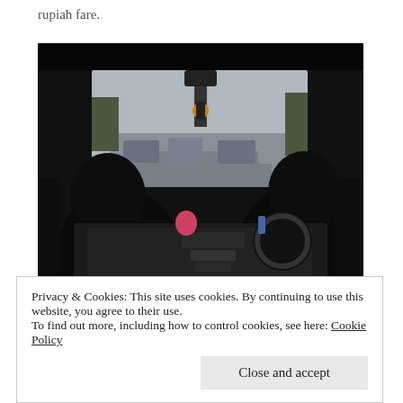rupiah fare.
[Figure (photo): View from the back seat of a car through the windshield, showing two silhouetted passengers in front seats, a traffic light hanging from the rearview mirror area, and a busy road with vehicles ahead under an overcast sky.]
Privacy & Cookies: This site uses cookies. By continuing to use this website, you agree to their use.
To find out more, including how to control cookies, see here: Cookie Policy
[Close and accept button]
between Merbabu and Merapi, is pretty rough. We